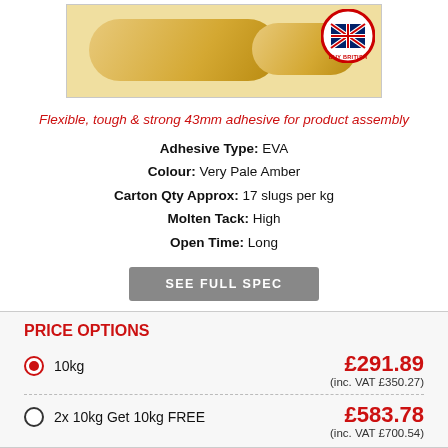[Figure (photo): Product image showing amber/golden EVA adhesive slugs with a Buy British circular badge in the top right corner]
Flexible, tough & strong 43mm adhesive for product assembly
Adhesive Type: EVA
Colour: Very Pale Amber
Carton Qty Approx: 17 slugs per kg
Molten Tack: High
Open Time: Long
SEE FULL SPEC
PRICE OPTIONS
10kg — £291.89 (inc. VAT £350.27)
2x 10kg Get 10kg FREE — £583.78 (inc. VAT £700.54)